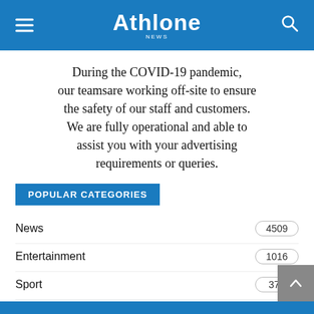Athlone News
During the COVID-19 pandemic, our teamsare working off-site to ensure the safety of our staff and customers. We are fully operational and able to assist you with your advertising requirements or queries.
POPULAR CATEGORIES
News 4509
Entertainment 1016
Sport 377